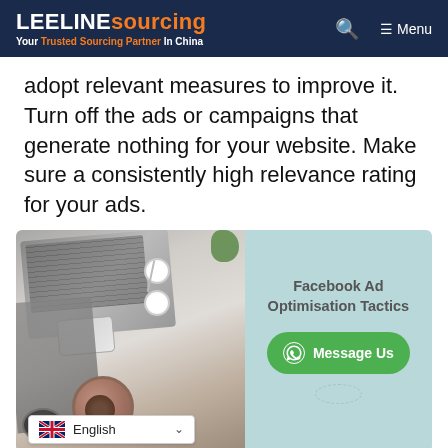LEELINE sourcing — Your Trusted Sourcing Partner In China
adopt relevant measures to improve it. Turn off the ads or campaigns that generate nothing for your website. Make sure a consistently high relevance rating for your ads.
[Figure (infographic): An infographic image showing a laptop/desk workspace photo on the left half, and on the right half a light teal background with bold text 'Facebook Ad Optimisation Tactics' and a green WhatsApp 'Message Us' button. A language selector showing 'English' with a UK flag appears at the bottom left.]